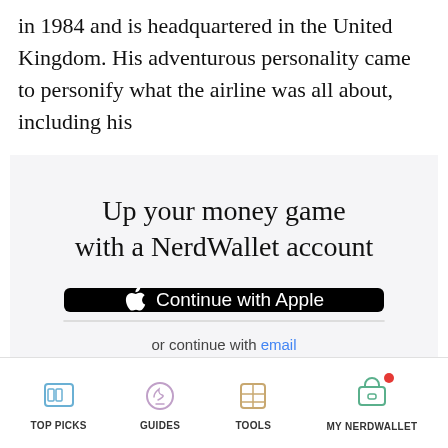in 1984 and is headquartered in the United Kingdom. His adventurous personality came to personify what the airline was all about, including his
Up your money game with a NerdWallet account
[Figure (screenshot): Continue with Apple button (black background, white text with Apple logo)]
[Figure (screenshot): Continue with Google button (white Google logo box on left, blue button with white text on right)]
or continue with email
By signing up, I agree to NerdWallet's Terms of Service and Privacy Policy.
TOP PICKS   GUIDES   TOOLS   MY NERDWALLET